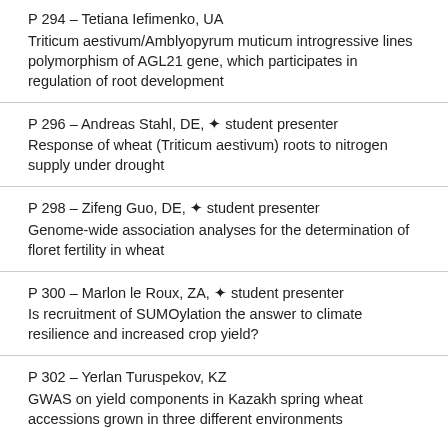P 294 – Tetiana Iefimenko, UA
Triticum aestivum/Amblyopyrum muticum introgressive lines polymorphism of AGL21 gene, which participates in regulation of root development
P 296 – Andreas Stahl, DE, ✦ student presenter
Response of wheat (Triticum aestivum) roots to nitrogen supply under drought
P 298 – Zifeng Guo, DE, ✦ student presenter
Genome-wide association analyses for the determination of floret fertility in wheat
P 300 – Marlon le Roux, ZA, ✦ student presenter
Is recruitment of SUMOylation the answer to climate resilience and increased crop yield?
P 302 – Yerlan Turuspekov, KZ
GWAS on yield components in Kazakh spring wheat accessions grown in three different environments